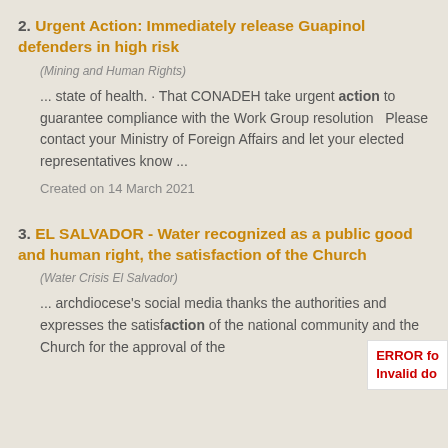2. Urgent Action: Immediately release Guapinol defenders in high risk
(Mining and Human Rights)
... state of health. · That CONADEH take urgent action to guarantee compliance with the Work Group resolution   Please contact your Ministry of Foreign Affairs and let your elected representatives know ...
Created on 14 March 2021
3. EL SALVADOR - Water recognized as a public good and human right, the satisfaction of the Church
(Water Crisis El Salvador)
... archdiocese's social media thanks the authorities and expresses the satisfaction of the national community and the Church for the approval of the